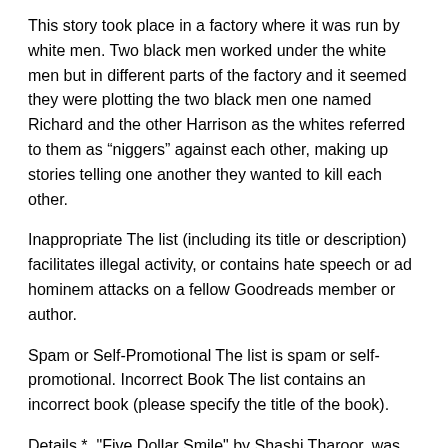This story took place in a factory where it was run by white men. Two black men worked under the white men but in different parts of the factory and it seemed they were plotting the two black men one named Richard and the other Harrison as the whites referred to them as “niggers” against each other, making up stories telling one another they wanted to kill each other.
Inappropriate The list (including its title or description) facilitates illegal activity, or contains hate speech or ad hominem attacks on a fellow Goodreads member or author.
Spam or Self-Promotional The list is spam or self-promotional. Incorrect Book The list contains an incorrect book (please specify the title of the book).
Details *. "Five Dollar Smile" by Shashi Tharoor, was suggested and given by a friend to me. The book contains 14 short stories and a farce, written by him in his years of teens and early adulthood. The plots of the story revolved along with the places he traveled with his father like Mumbai, Cal The lockdown dut to COVID gave us the time